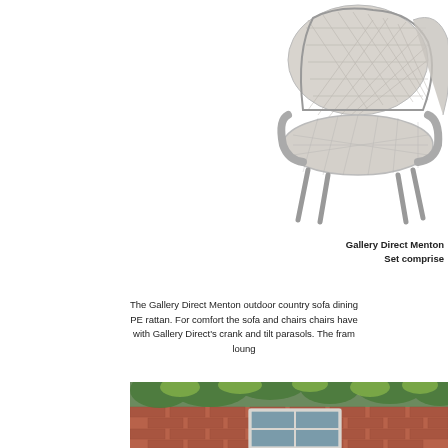[Figure (photo): White/grey wicker rattan outdoor armchair(s) shown on white background, product photo]
Gallery Direct Menton
Set comprises...
The Gallery Direct Menton outdoor country sofa dining PE rattan. For comfort the sofa and chairs chairs have with Gallery Direct's crank and tilt parasols. The fram loung
[Figure (photo): Garden outdoor scene showing brick wall, window, and green foliage/plants]